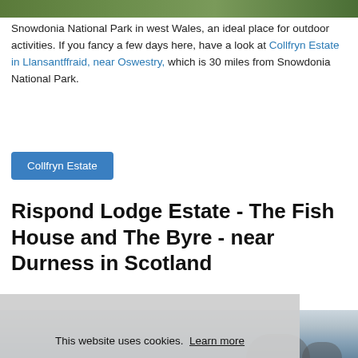[Figure (photo): Partial top edge of a photo showing green vegetation/forest in Snowdonia National Park area]
Snowdonia National Park in west Wales, an ideal place for outdoor activities. If you fancy a few days here, have a look at Collfryn Estate in Llansantffraid, near Oswestry, which is 30 miles from Snowdonia National Park.
Collfryn Estate
Rispond Lodge Estate - The Fish House and The Byre - near Durness in Scotland
[Figure (photo): Partial photo of a Scottish coastal scene showing rocky shoreline, beach, and sea near Durness, with a cookie consent overlay in the foreground]
This website uses cookies. Learn more
Got it!